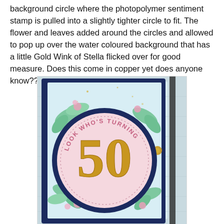background circle where the photopolymer sentiment stamp is pulled into a slightly tighter circle to fit. The flower and leaves added around the circles and allowed to pop up over the water coloured background that has a little Gold Wink of Stella flicked over for good measure. Does this come in copper yet does anyone know??
[Figure (photo): A handmade birthday card featuring a navy blue circle on a light blue watercoloured background with green leaves and pink flowers. The circle contains a pink inner circle with gold '50' die cut numbers and the text 'look who's turning' stamped around the edge in pink.]